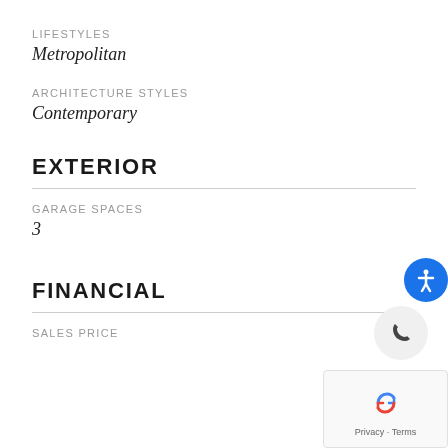LIFESTYLES
Metropolitan
ARCHITECTURE STYLES
Contemporary
EXTERIOR
GARAGE SPACES
3
FINANCIAL
SALES PRICE